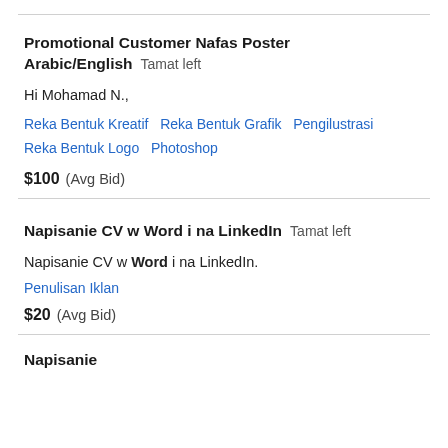Promotional Customer Nafas Poster Arabic/English   Tamat left
Hi Mohamad N.,
Reka Bentuk Kreatif   Reka Bentuk Grafik   Pengilustrasi   Reka Bentuk Logo   Photoshop
$100  (Avg Bid)
Napisanie CV w Word i na LinkedIn   Tamat left
Napisanie CV w Word i na LinkedIn.
Penulisan Iklan
$20  (Avg Bid)
Napisanie...